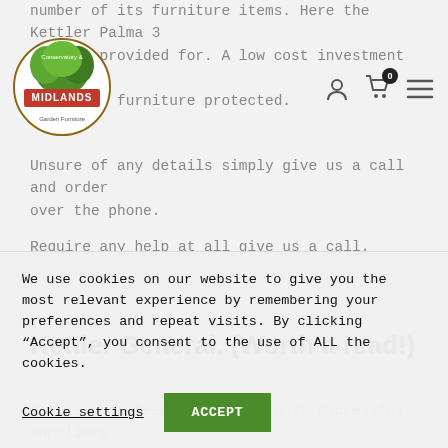number of its furniture items. Here the Kettler Palma 3 Seat is provided for A low cost investment that keeps the furniture protected.
[Figure (logo): Midlands Conservatory & Garden Furniture circular logo with green leaf design]
Unsure of any details simply give us a call and order over the phone.
Require any help at all give us a call.
Kettler General. (Worth a read!)
Kettler has been one of the most successful suppliers of garden furniture in the UK for 30 years. Kettler is
We use cookies on our website to give you the most relevant experience by remembering your preferences and repeat visits. By clicking “Accept”, you consent to the use of ALL the cookies.
Cookie settings    ACCEPT